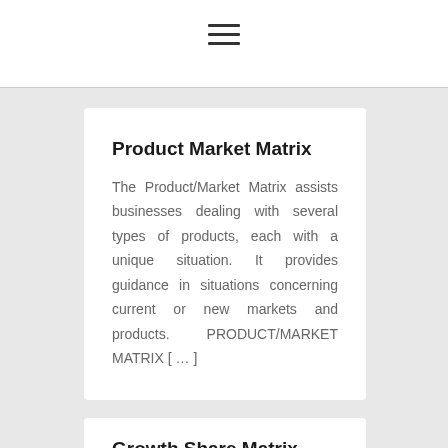≡
Product Market Matrix
The Product/Market Matrix assists businesses dealing with several types of products, each with a unique situation. It provides guidance in situations concerning current or new markets and products. PRODUCT/MARKET MATRIX [ … ]
Growth Share Matrix